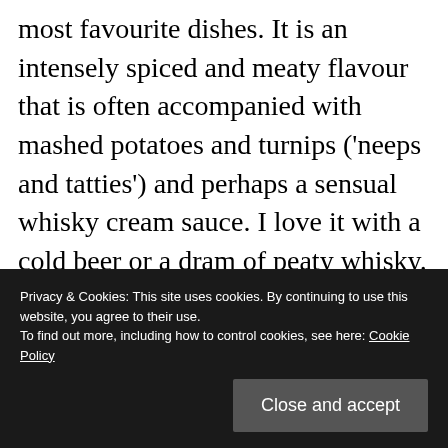most favourite dishes. It is an intensely spiced and meaty flavour that is often accompanied with mashed potatoes and turnips ('neeps and tatties') and perhaps a sensual whisky cream sauce. I love it with a cold beer or a dram of peaty whisky. But wine?
I have gone off piste for this one and
more importantly, offal dishes like
Privacy & Cookies: This site uses cookies. By continuing to use this website, you agree to their use.
To find out more, including how to control cookies, see here: Cookie Policy